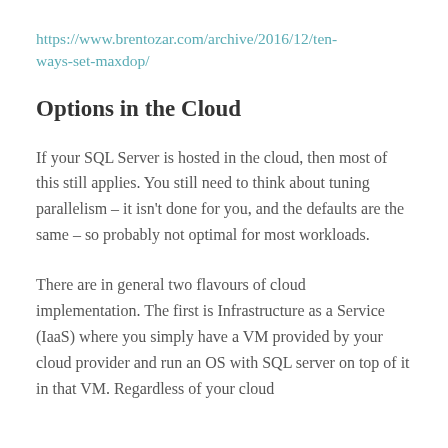https://www.brentozar.com/archive/2016/12/ten-ways-set-maxdop/
Options in the Cloud
If your SQL Server is hosted in the cloud, then most of this still applies. You still need to think about tuning parallelism – it isn't done for you, and the defaults are the same – so probably not optimal for most workloads.
There are in general two flavours of cloud implementation. The first is Infrastructure as a Service (IaaS) where you simply have a VM provided by your cloud provider and run an OS with SQL server on top of it in that VM. Regardless of your cloud